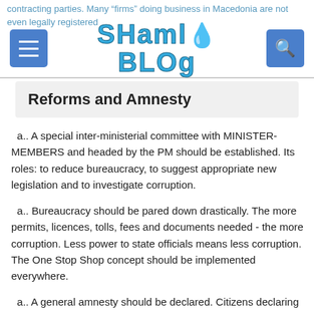contracting parties. Many "firms" doing business in Macedonia are not even legally registered
[Figure (logo): ShamloB log website logo with stylized text and navigation buttons]
Reforms and Amnesty
a.. A special inter-ministerial committee with MINISTER-MEMBERS and headed by the PM should be established. Its roles: to reduce bureaucracy, to suggest appropriate new legislation and to investigate corruption.
a.. Bureaucracy should be pared down drastically. The more permits, licences, tolls, fees and documents needed - the more corruption. Less power to state officials means less corruption. The One Stop Shop concept should be implemented everywhere.
a.. A general amnesty should be declared. Citizens declaring their illegal wealth should be pardoned BY LAW and either not taxed or